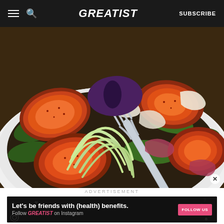GREATIST | SUBSCRIBE
[Figure (photo): Close-up of a salad bowl containing sliced figs, arugula, zucchini noodles, and shaved parmesan, with a fork lifting zucchini noodles in the foreground.]
ADVERTISEMENT
[Figure (infographic): Advertisement banner: dark background with doodles. Text: Let's be friends with (health) benefits. Follow GREATIST on Instagram. FOLLOW US button.]